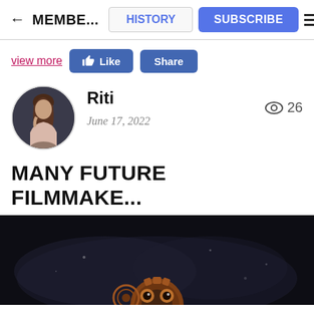← MEMBE... | HISTORY | SUBSCRIBE
view more  Like  Share
[Figure (photo): Circular avatar photo of a woman (Riti) in a light pink outfit, posed with hand on chin, dark background]
Riti
June 17, 2022
👁 26
MANY FUTURE FILMMAKE...
[Figure (photo): Dark atmospheric image with a mechanical/steampunk owl or gear sculpture visible at bottom center]